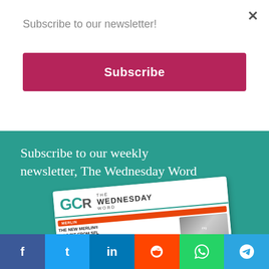Subscribe to our newsletter!
Subscribe
[Figure (screenshot): Teal promotional banner showing 'Subscribe to our weekly newsletter, The Wednesday Word' with a mockup of the GCR Wednesday Word newsletter]
f
t
in
reddit icon
whatsapp icon
telegram icon